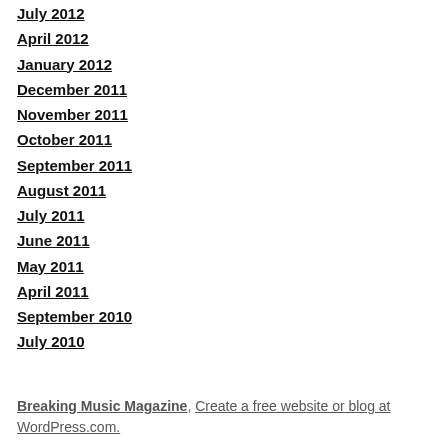July 2012
April 2012
January 2012
December 2011
November 2011
October 2011
September 2011
August 2011
July 2011
June 2011
May 2011
April 2011
September 2010
July 2010
Breaking Music Magazine, Create a free website or blog at WordPress.com.